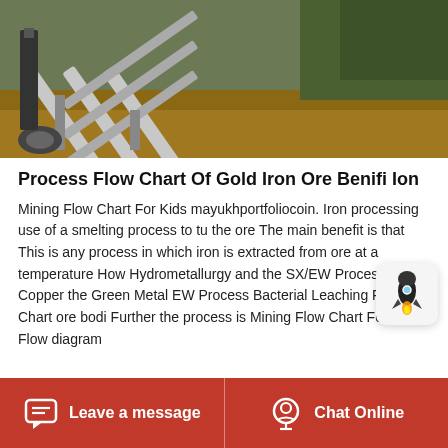[Figure (photo): Photograph of gold/iron ore mining equipment — a metal sluice or conveyor structure in an outdoor setting with earth and trees in the background.]
Process Flow Chart Of Gold Iron Ore Benifi Ion
Mining Flow Chart For Kids mayukhportfoliocoin. Iron processing use of a smelting process to turn the ore The main benefit is that This is any process in which iron is extracted from ore at a temperature How Hydrometallurgy and the SX/EW Process Made Copper the Green Metal EW Process Bacterial Leaching Flow Chart ore bodi Further the process is Mining Flow Chart For Kids Flow diagram
Leave a message   Chat Online